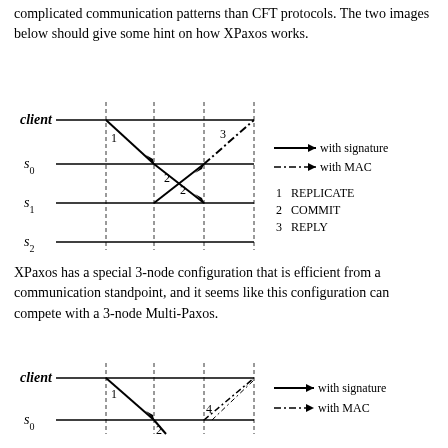complicated communication patterns than CFT protocols. The two images below should give some hint on how XPaxos works.
[Figure (schematic): XPaxos communication diagram showing client and servers s0, s1, s2 with labeled message arrows: 1=REPLICATE (solid), 2=COMMIT (solid), 3=REPLY (dash-dot). Legend shows solid arrow = with signature, dash-dot arrow = with MAC.]
XPaxos has a special 3-node configuration that is efficient from a communication standpoint, and it seems like this configuration can compete with a 3-node Multi-Paxos.
[Figure (schematic): Second XPaxos communication diagram showing client and server s0 with labeled message arrows: 1, 2, 4. Legend shows solid arrow = with signature, dash-dot arrow = with MAC.]